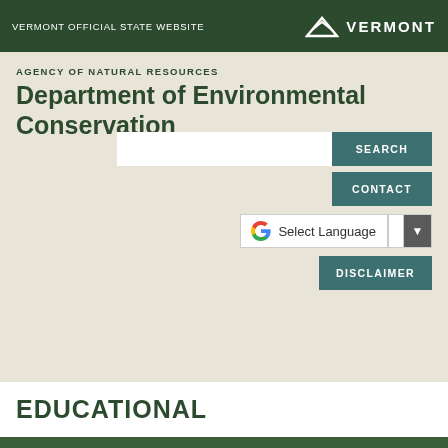VERMONT OFFICIAL STATE WEBSITE
AGENCY OF NATURAL RESOURCES
Department of Environmental Conservation
SEARCH
CONTACT
Select Language
DISCLAIMER
EDUCATIONAL
MENU
Natural Shoreland Erosion Control